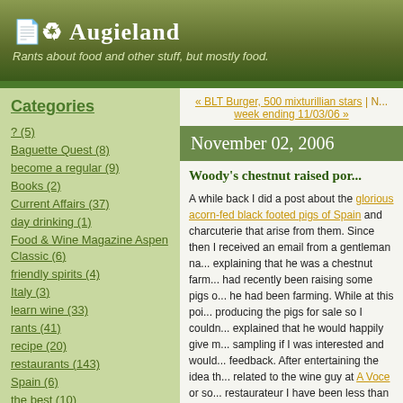Augieland — Rants about food and other stuff, but mostly food.
Categories
? (5)
Baguette Quest (8)
become a regular (9)
Books (2)
Current Affairs (37)
day drinking (1)
Food & Wine Magazine Aspen Classic (6)
friendly spirits (4)
Italy (3)
learn wine (33)
rants (41)
recipe (20)
restaurants (143)
Spain (6)
the best (10)
Today in the Times (7)
Truffles (9)
« BLT Burger, 500 mixturillian stars | N... week ending 11/03/06 »
November 02, 2006
Woody's chestnut raised por...
A while back I did a post about the glorious acorn-fed black footed pigs of Spain and charcuterie that arise from them. Since then I received an email from a gentleman named Woody explaining that he was a chestnut farmer who had recently been raising some pigs on the land he had been farming. While at this point he wasn't producing the pigs for sale so I couldn't buy any, he explained that he would happily give me some for sampling if I was interested and would like some feedback. After entertaining the idea that he was related to the wine guy at A Voce or some restaurateur I have been less than nice to, and that this would be quite an elaborate ruse and decided this guy was on the up and up.